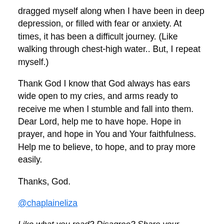dragged myself along when I have been in deep depression, or filled with fear or anxiety. At times, it has been a difficult journey. (Like walking through chest-high water.. But, I repeat myself.)
Thank God I know that God always has ears wide open to my cries, and arms ready to receive me when I stumble and fall into them. Dear Lord, help me to have hope. Hope in prayer, and hope in You and Your faithfulness. Help me to believe, to hope, and to pray more easily.
Thanks, God.
@chaplaineliza
Like what you read? Disagree? Share your thoughts with your loved ones and continue the conversation.